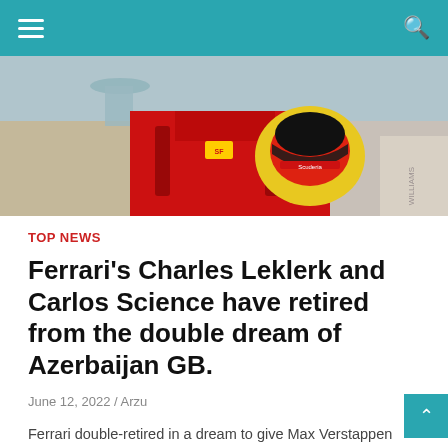Navigation menu and search
[Figure (photo): A Ferrari F1 driver in red racing suit holding a yellow and red helmet, standing at a race circuit paddock area.]
TOP NEWS
Ferrari's Charles Leklerk and Carlos Science have retired from the double dream of Azerbaijan GB.
June 12, 2022 / Arzu
Ferrari double-retired in a dream to give Max Verstappen and Red Bull another great opportunity at the Azerbaijan Grand Prix.
Ferrari claimed the polar position by Charles Leklerk on Saturday, finishing fourth by Carlos Science, but both of